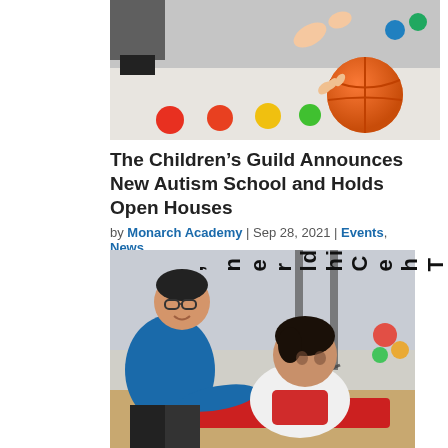[Figure (photo): Photo of colorful balls on a floor, with hands reaching toward them in a therapy or play setting]
The Children’s Guild Announces New Autism School and Holds Open Houses
by Monarch Academy | Sep 28, 2021 | Events, News
[Figure (photo): Photo of a man in blue shirt helping a child in a white shirt with a therapy activity, the child is leaning forward on a red mat with a swing visible in the background]
The Children’n'